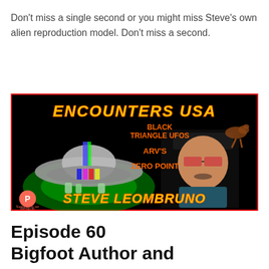Don’t miss a single second or you might miss Steve’s own alien reproduction model. Don’t miss a second.
[Figure (illustration): Promotional thumbnail image for 'Encounters USA' podcast episode featuring Steve Leombruno. Black background with red border. Large yellow/orange text reads 'ENCOUNTERS USA'. Orange bold text lists: 'BLACK TRIANGLE UFOS', 'ARV'S', 'ZERO POINT'. On the left is a 3D model of a flying saucer/UFO. On the right is a photo of a man wearing a black cap and red-tinted sunglasses. Bottom text in large orange letters: 'STEVE LEOMBRUNO'. Patreon logo in the bottom left corner.]
Episode 60
Bigfoot Author and